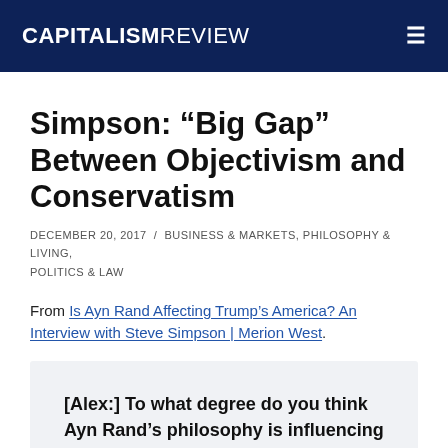CAPITALISM REVIEW
Simpson: “Big Gap” Between Objectivism and Conservatism
DECEMBER 20, 2017 / BUSINESS & MARKETS, PHILOSOPHY & LIVING, POLITICS & LAW
From Is Ayn Rand Affecting Trump’s America? An Interview with Steve Simpson | Merion West.
[Alex:] To what degree do you think Ayn Rand’s philosophy is influencing the modern Republican Party?